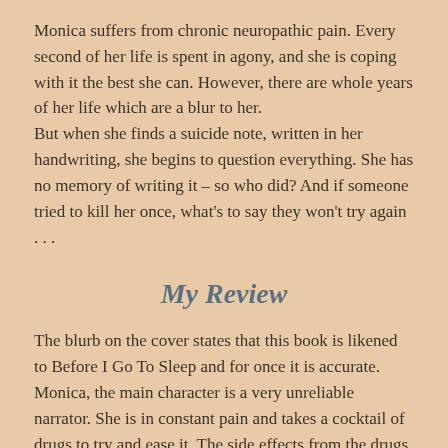Monica suffers from chronic neuropathic pain. Every second of her life is spent in agony, and she is coping with it the best she can. However, there are whole years of her life which are a blur to her.
But when she finds a suicide note, written in her handwriting, she begins to question everything. She has no memory of writing it – so who did? And if someone tried to kill her once, what's to say they won't try again . . .
My Review
The blurb on the cover states that this book is likened to Before I Go To Sleep and for once it is accurate. Monica, the main character is a very unreliable narrator. She is in constant pain and takes a cocktail of drugs to try and ease it. The side effects from the drugs cause memory problems, mood